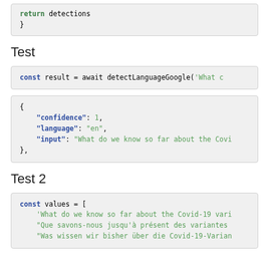return detections
}
Test
const result = await detectLanguageGoogle('What c...
{
  "confidence": 1,
  "language": "en",
  "input": "What do we know so far about the Covi..."
},
Test 2
const values = [
  'What do we know so far about the Covid-19 vari...
  "Que savons-nous jusqu'à présent des variantes...
  "Was wissen wir bisher über die Covid-19-Varian...